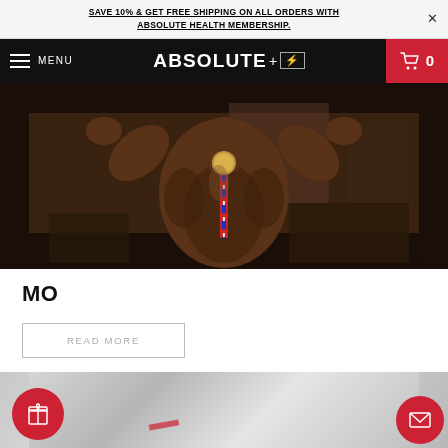SAVE 10% & GET FREE SHIPPING ON ALL ORDERS WITH ABSOLUTE HEALTH MEMBERSHIP.
[Figure (screenshot): Website navigation bar with hamburger menu, MENU label, ABSOLUTE+ logo centered, and a red cart icon with count 0 on the right]
[Figure (photo): A muscular bodybuilder flexing both arms in a gym, wearing a competition medal with red-white-blue ribbon around neck, photographed in black and white / warm tones]
MO
READ MORE
[Figure (photo): Partial blurred product image at bottom with red gift icon button on left and red email icon button on right]